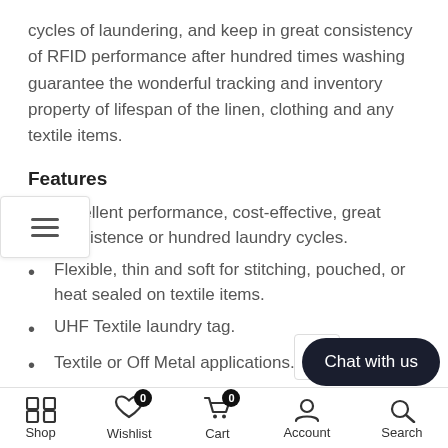cycles of laundering, and keep in great consistency of RFID performance after hundred times washing guarantee the wonderful tracking and inventory property of lifespan of the linen, clothing and any textile items.
Features
Excellent performance, cost-effective, great consistence or hundred laundry cycles.
Flexible, thin and soft for stitching, pouched, or heat sealed on textile items.
UHF Textile laundry tag.
Textile or Off Metal applications.
Frequency options:FCC / ETSI / CHN.
More than 200 wash cycles, Both ma…
Shop   Wishlist 0   Cart 0   Account   Search